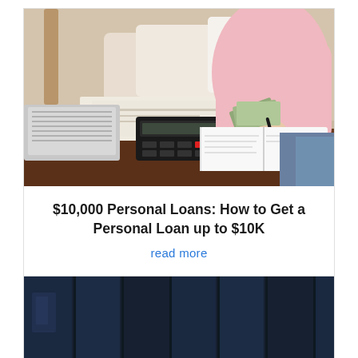[Figure (photo): Woman in pink shirt sitting on couch at table with calculator, laptop, notebook, and cash counting money with a pen]
$10,000 Personal Loans: How to Get a Personal Loan up to $10K
read more
[Figure (photo): Dark blue background image, partially visible at bottom of page, appears to be an interior scene]